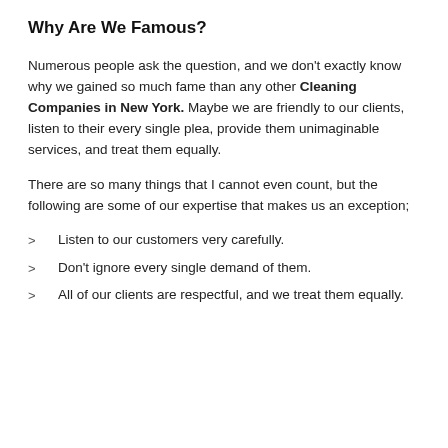Why Are We Famous?
Numerous people ask the question, and we don't exactly know why we gained so much fame than any other Cleaning Companies in New York. Maybe we are friendly to our clients, listen to their every single plea, provide them unimaginable services, and treat them equally.
There are so many things that I cannot even count, but the following are some of our expertise that makes us an exception;
Listen to our customers very carefully.
Don't ignore every single demand of them.
All of our clients are respectful, and we treat them equally.